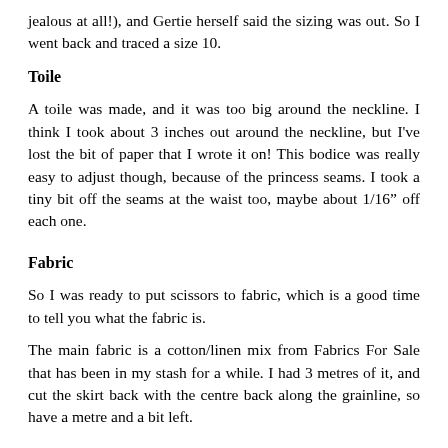jealous at all!), and Gertie herself said the sizing was out.  So I went back and traced a size 10.
Toile
A toile was made, and it was too big around the neckline.  I think I took about 3 inches out around the neckline, but I've lost the bit of paper that I wrote it on!  This bodice was really easy to adjust though, because of the princess seams.  I took a tiny bit off the seams at the waist too, maybe about 1/16" off each one.
Fabric
So I was ready to put scissors to fabric, which is a good time to tell you what the fabric is.
The main fabric is a cotton/linen mix from Fabrics For Sale that has been in my stash for a while.  I had 3 metres of it, and cut the skirt back with the centre back along the grainline, so have a metre and a bit left.